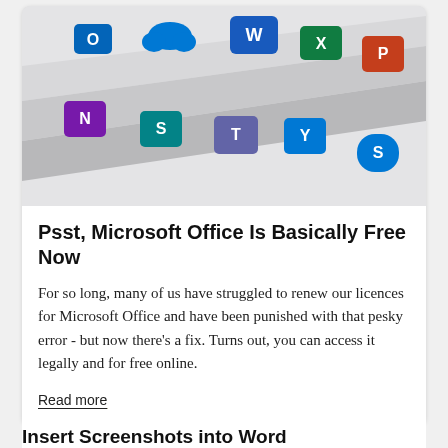[Figure (photo): Microsoft Office application icons (OneDrive, Word, Excel, PowerPoint, OneNote, SharePoint, Teams, Yammer, Skype) arranged on a light grey layered surface background.]
Psst, Microsoft Office Is Basically Free Now
For so long, many of us have struggled to renew our licences for Microsoft Office and have been punished with that pesky error - but now there's a fix. Turns out, you can access it legally and for free online.
Read more
Insert Screenshots into Word